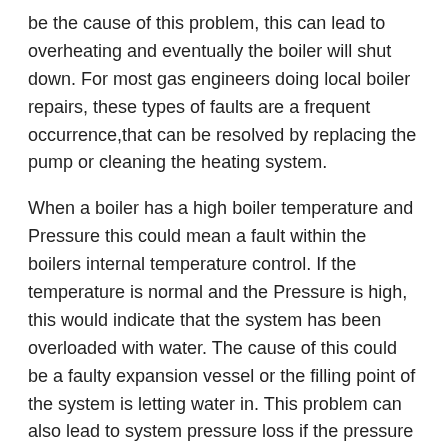be the cause of this problem, this can lead to overheating and eventually the boiler will shut down. For most gas engineers doing local boiler repairs, these types of faults are a frequent occurrence,that can be resolved by replacing the pump or cleaning the heating system.
When a boiler has a high boiler temperature and Pressure this could mean a fault within the boilers internal temperature control. If the temperature is normal and the Pressure is high, this would indicate that the system has been overloaded with water. The cause of this could be a faulty expansion vessel or the filling point of the system is letting water in. This problem can also lead to system pressure loss if the pressure gauge exceeds 3bar the heating systems water will be released for safety reasons.
Heating systems that constantly require topping up are in